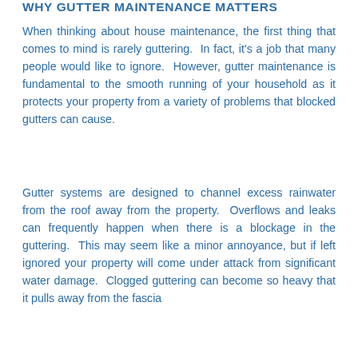WHY GUTTER MAINTENANCE MATTERS
When thinking about house maintenance, the first thing that comes to mind is rarely guttering. In fact, it's a job that many people would like to ignore. However, gutter maintenance is fundamental to the smooth running of your household as it protects your property from a variety of problems that blocked gutters can cause.
Gutter systems are designed to channel excess rainwater from the roof away from the property. Overflows and leaks can frequently happen when there is a blockage in the guttering. This may seem like a minor annoyance, but if left ignored your property will come under attack from significant water damage. Clogged guttering can become so heavy that it pulls away from the fascia